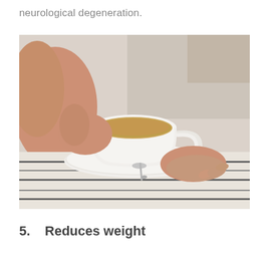neurological degeneration.
[Figure (photo): A person sitting and holding a white cup of tea on a white saucer with a small spoon, resting on their lap. The person is wearing a striped garment and a light-colored top is visible in the background.]
5.    Reduces weight